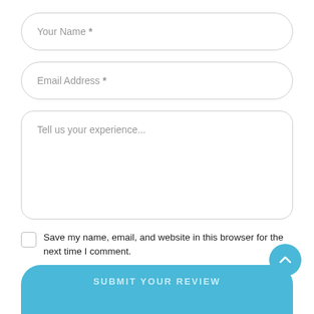Your Name *
Email Address *
Tell us your experience...
Save my name, email, and website in this browser for the next time I comment.
SUBMIT YOUR REVIEW